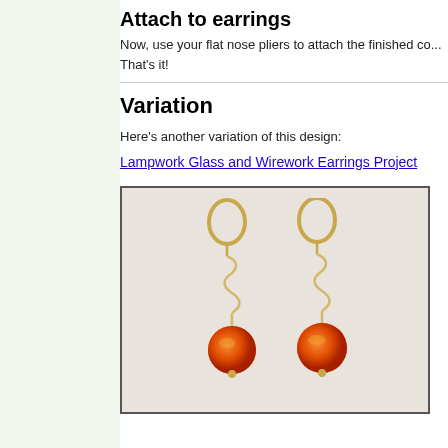Attach to earrings
Now, use your flat nose pliers to attach the finished co... That's it!
Variation
Here's another variation of this design:
Lampwork Glass and Wirework Earrings Project
[Figure (photo): Photo of two gold wire dangle earrings with orange lampwork glass bead drops and spiral wire work, displayed against a light beige background.]